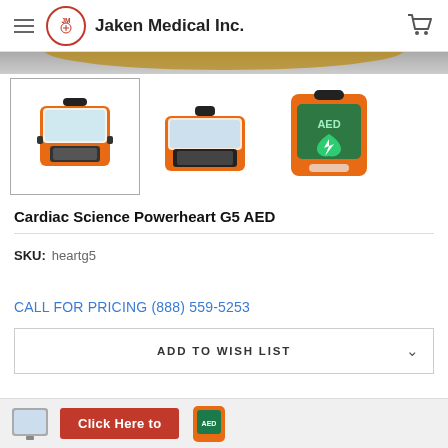Jaken Medical Inc.
[Figure (photo): Three product images of the Cardiac Science Powerheart G5 AED defibrillator - open case view selected (left), open angled view (center), closed front view showing AED label (right)]
Cardiac Science Powerheart G5 AED
SKU: heartg5
CALL FOR PRICING (888) 559-5253
ADD TO WISH LIST